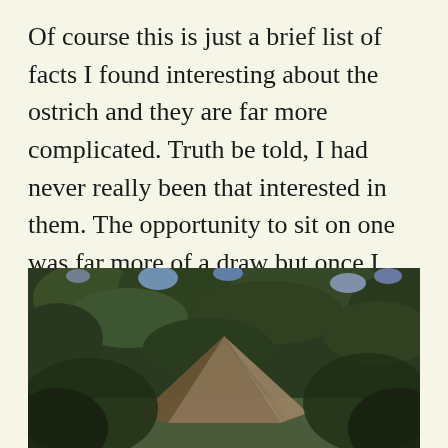Of course this is just a brief list of facts I found interesting about the ostrich and they are far more complicated. Truth be told, I had never really been that interested in them. The opportunity to sit on one was far more of a draw but once I was there learning about them, they became far more fascinating.
[Figure (photo): Upward-looking photo showing green leafy trees and blue sky, with a wooden triangular roof or structure visible in the lower center of the frame.]